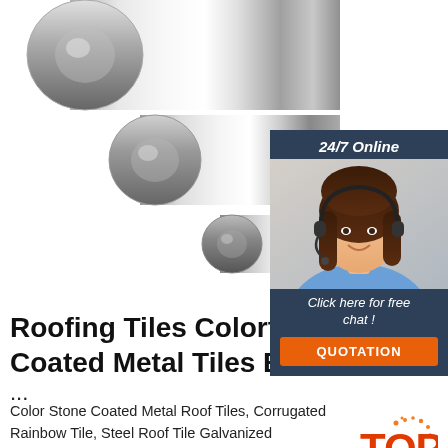[Figure (photo): Three chrome/steel cylindrical rods of varying sizes arranged diagonally on white background]
[Figure (infographic): Customer service chat widget with '24/7 Online' header, photo of female agent with headset, 'Click here for free chat!' text, and orange QUOTATION button]
Roofing Tiles Colorful S... Coated Metal Tiles Buil...
...
Color Stone Coated Metal Roof Tiles, Corrugated Rainbow Tile, Steel Roof Tile Galvanized manufacturer supplier in China, offering Roofing Tiles Colorful Stone Coated Metal Tiles Building
[Figure (logo): TOP badge with orange dots and bold red TOP text]